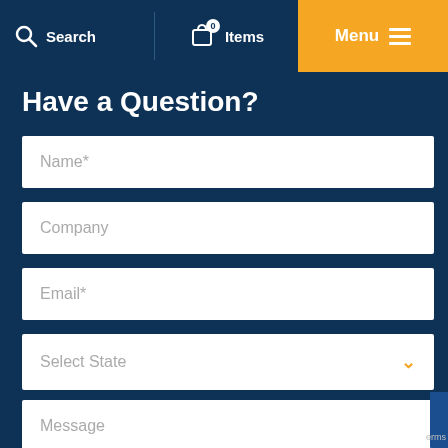Search   0 Items   Menu
Have a Question?
Name*
Company
Email*
Select State
Message